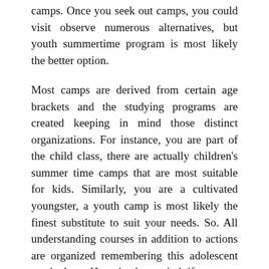camps. Once you seek out camps, you could visit observe numerous alternatives, but youth summertime program is most likely the better option.
Most camps are derived from certain age brackets and the studying programs are created keeping in mind those distinct organizations. For instance, you are part of the child class, there are actually children's summer time camps that are most suitable for kids. Similarly, you are a cultivated youngster, a youth camp is most likely the finest substitute to suit your needs. So. All understanding courses in addition to actions are organized remembering this adolescent aged class. Here is the period if you are coming into a adulthood stage and it is now time when you have to have the courses of your body plus your intellect. You should opt for the choice that offers understanding applications catering the needs of young people.